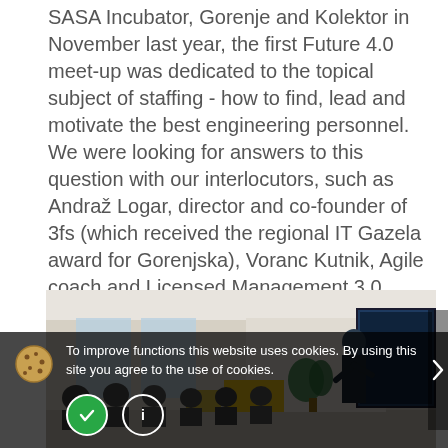SASA Incubator, Gorenje and Kolektor in November last year, the first Future 4.0 meet-up was dedicated to the topical subject of staffing - how to find, lead and motivate the best engineering personnel. We were looking for answers to this question with our interlocutors, such as Andraž Logar, director and co-founder of 3fs (which received the regional IT Gazela award for Gorenjska), Voranc Kutnik, Agile coach and Licensed Management 3.0 Trainer and co-founder of CorpoHub, and Mateja Lavrič and Marko Thaler, the Kolektor Digital management team members.
[Figure (photo): A business event or meet-up taking place in a modern office space. A presenter (man in dark suit) stands near a large TV screen on the right, while an audience sits and stands in the background. The room has large windows, plants, and yellow furniture.]
To improve functions this website uses cookies. By using this site you agree to the use of cookies.